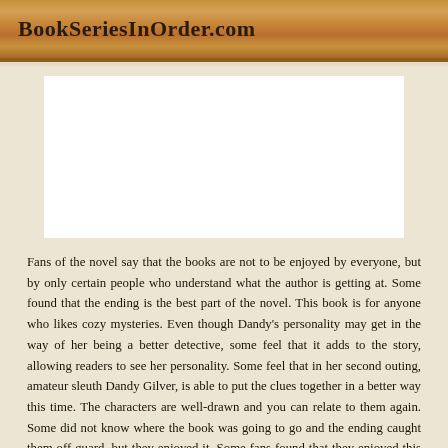BookSeriesInOrder.com
[Figure (other): White advertisement block/placeholder image]
Fans of the novel say that the books are not to be enjoyed by everyone, but by only certain people who understand what the author is getting at. Some found that the ending is the best part of the novel. This book is for anyone who likes cozy mysteries. Even though Dandy’s personality may get in the way of her being a better detective, some feel that it adds to the story, allowing readers to see her personality. Some feel that in her second outing, amateur sleuth Dandy Gilver, is able to put the clues together in a better way this time. The characters are well-drawn and you can relate to them again. Some did not know where the book was going to go and the ending caught them off guard, but they enjoyed it. Some fans found that they enjoyed this book more and were actually able to connect with Dandy